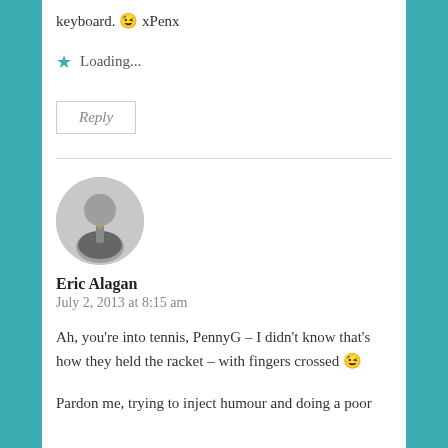keyboard. 😉 xPenx
⭐ Loading...
Reply
Eric Alagan
July 2, 2013 at 8:15 am
Ah, you're into tennis, PennyG – I didn't know that's how they held the racket – with fingers crossed 😉
Pardon me, trying to inject humour and doing a poor